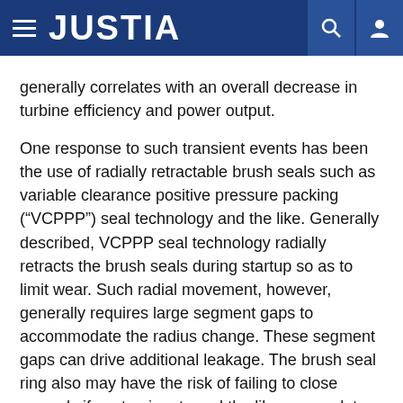JUSTIA
generally correlates with an overall decrease in turbine efficiency and power output.
One response to such transient events has been the use of radially retractable brush seals such as variable clearance positive pressure packing (“VCPPP”) seal technology and the like. Generally described, VCPPP seal technology radially retracts the brush seals during startup so as to limit wear. Such radial movement, however, generally requires large segment gaps to accommodate the radius change. These segment gaps can drive additional leakage. The brush seal ring also may have the risk of failing to close properly if contaminants and the like accumulate therein. For example, bristles at the segment ends may fall into the gap when the brush seal ring opens up.
There is thus a desire for an improved retractable seal